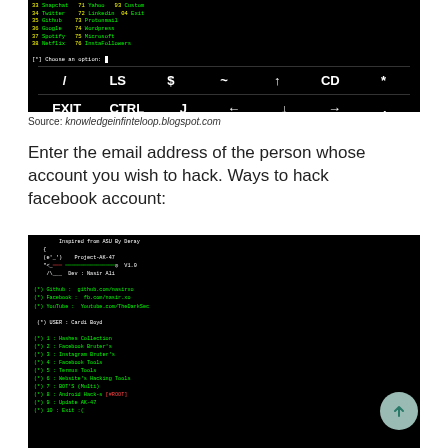[Figure (screenshot): Terminal/keyboard screenshot showing a menu of social media options and keyboard shortcut keys (/, LS, $, ~, ↑, CD, *, EXIT, CTRL, J, ←, ↓, →, .) on black background]
Source: knowledgeinfinteloop.blogspot.com
Enter the email address of the person whose account you wish to hack. Ways to hack facebook account:
[Figure (screenshot): Terminal screenshot showing Project-AK-47 tool by Nasir Ali, inspired from ASU By Deray. Shows USER: Cardi Boyd and menu items: 1: Hashes Collection, 2: Facebook Bruter's, 3: Instagram Bruter's, 4: Facebook Tools, 5: Termux Tools, 6: Website's Hacking Tools, 7: BOT'S (Multi), 8: Android Hack-s [#ROOT], 9: Update AK-47, 10: Exit :(]